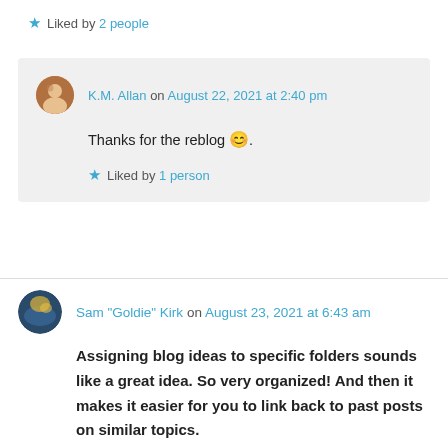Liked by 2 people
K.M. Allan on August 22, 2021 at 2:40 pm
Thanks for the reblog 😊.
Liked by 1 person
Sam "Goldie" Kirk on August 23, 2021 at 6:43 am
Assigning blog ideas to specific folders sounds like a great idea. So very organized! And then it makes it easier for you to link back to past posts on similar topics.
Liked by 2 people